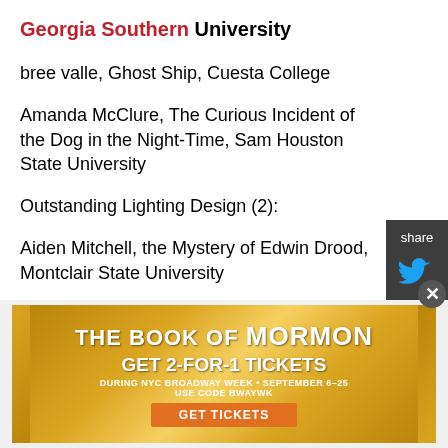Georgia Southern University
bree valle, Ghost Ship, Cuesta College
Amanda McClure, The Curious Incident of the Dog in the Night-Time, Sam Houston State University
Outstanding Lighting Design (2):
Aiden Mitchell, the Mystery of Edwin Drood, Montclair State University
AND
[Figure (photo): Advertisement banner for The Book of Mormon musical. Text reads: THE BOOK OF MORMON. GET 2-FOR-1 TICKETS DURING NYC BROADWAY WEEK • SEPTEMBER 6–25. USE CODE BWAYWK. GET TICKETS. Gold/glittery background with starburst pattern edges.]